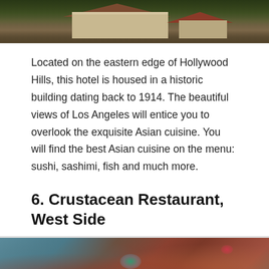[Figure (photo): Exterior photo of a historic building/hotel in Hollywood Hills with trees and mountains in the background]
Located on the eastern edge of Hollywood Hills, this hotel is housed in a historic building dating back to 1914. The beautiful views of Los Angeles will entice you to overlook the exquisite Asian cuisine. You will find the best Asian cuisine on the menu: sushi, sashimi, fish and much more.
6. Crustacean Restaurant, West Side
[Figure (photo): Close-up photo of live lobsters/crustaceans with colorful iridescent reflections]